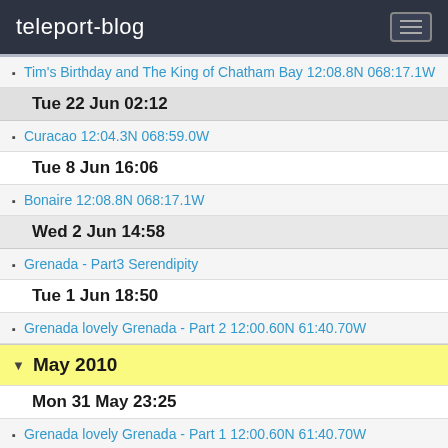teleport-blog
Tim's Birthday and The King of Chatham Bay 12:08.8N 068:17.1W
Tue 22 Jun 02:12
Curacao 12:04.3N 068:59.0W
Tue 8 Jun 16:06
Bonaire 12:08.8N 068:17.1W
Wed 2 Jun 14:58
Grenada - Part3 Serendipity
Tue 1 Jun 18:50
Grenada lovely Grenada - Part 2 12:00.60N 61:40.70W
May 2010
Mon 31 May 23:25
Grenada lovely Grenada - Part 1 12:00.60N 61:40.70W
Wed 26 May 00:45
Fish 11:59.0N 61:45.1W
Thu 20 May 13:33